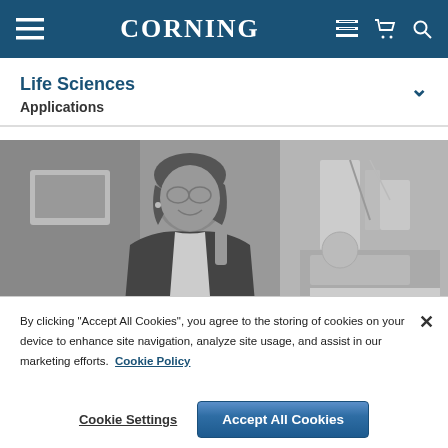CORNING
Life Sciences
Applications
[Figure (photo): Black and white photo of a female scientist in a laboratory setting, wearing a dark cardigan, standing in front of lab equipment including a Corning Ascent instrument. She is smiling and holding lab equipment.]
By clicking “Accept All Cookies”, you agree to the storing of cookies on your device to enhance site navigation, analyze site usage, and assist in our marketing efforts. Cookie Policy
Cookie Settings
Accept All Cookies